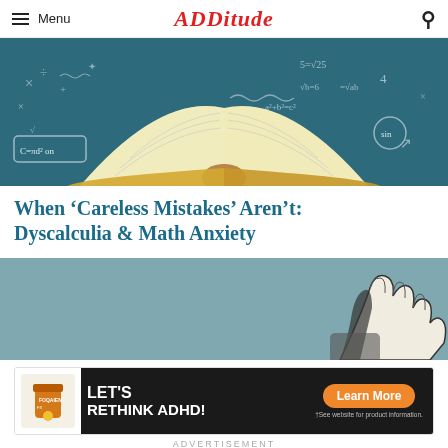Menu | ADDitude
[Figure (illustration): Open book with math symbols (equations, formulas, geometric shapes) floating around it on a teal/dark blue background — hero image for article about dyscalculia and math anxiety]
When ‘Careless Mistakes’ Aren’t: Dyscalculia & Math Anxiety
[Figure (illustration): Illustration of a hand (cartoon/drawn style) on a muted teal-grey background — partial view, appears to be thinking or pointing gesture]
[Figure (other): Advertisement banner: LET'S RETHINK ADHD! with a Learn More button and pill/supplement product image. Fine print: †See website for product information.]
ADVERTISEMENT